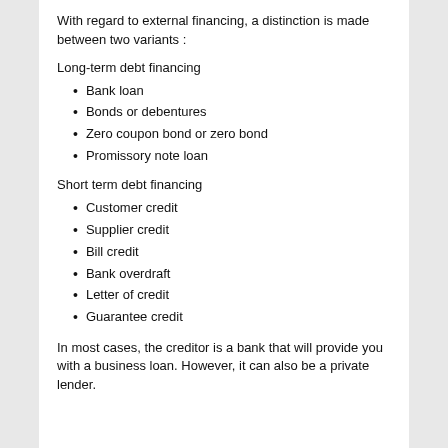With regard to external financing, a distinction is made between two variants :
Long-term debt financing
Bank loan
Bonds or debentures
Zero coupon bond or zero bond
Promissory note loan
Short term debt financing
Customer credit
Supplier credit
Bill credit
Bank overdraft
Letter of credit
Guarantee credit
In most cases, the creditor is a bank that will provide you with a business loan. However, it can also be a private lender.